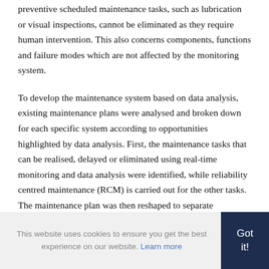preventive scheduled maintenance tasks, such as lubrication or visual inspections, cannot be eliminated as they require human intervention. This also concerns components, functions and failure modes which are not affected by the monitoring system.
To develop the maintenance system based on data analysis, existing maintenance plans were analysed and broken down for each specific system according to opportunities highlighted by data analysis. First, the maintenance tasks that can be realised, delayed or eliminated using real-time monitoring and data analysis were identified, while reliability centred maintenance (RCM) is carried out for the other tasks. The maintenance plan was then reshaped to separate
This website uses cookies to ensure you get the best experience on our website. Learn more
Got it!